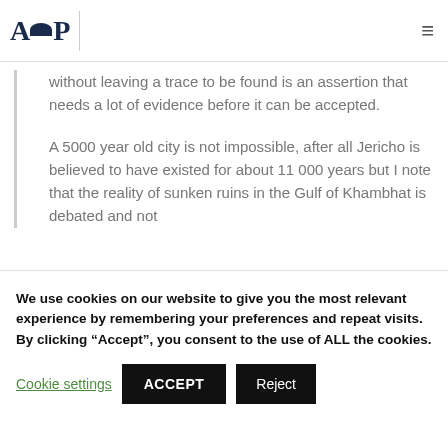AOP
without leaving a trace to be found is an assertion that needs a lot of evidence before it can be accepted.
A 5000 year old city is not impossible, after all Jericho is believed to have existed for about 11 000 years but I note that the reality of sunken ruins in the Gulf of Khambhat is debated and not
We use cookies on our website to give you the most relevant experience by remembering your preferences and repeat visits. By clicking “Accept”, you consent to the use of ALL the cookies.